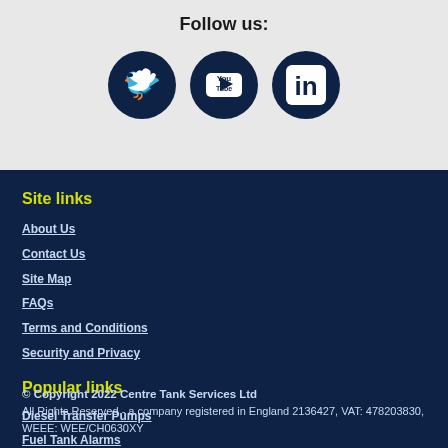Follow us:
[Figure (illustration): Three circular dark navy social media icons: Twitter (bird), YouTube (play button), LinkedIn (in)]
Site links
About Us
Contact Us
Site Map
FAQs
Terms and Conditions
Security and Privacy
Popular links
Diesel Transfer Pumps
Fuel Tank Alarms
AdBlue™ Pumps
Piusi UK Agent
Open a Trade Account
Aquafighter
© Copyright 2022 Centre Tank Services Ltd All Rights Reserved - a company registered in England 2136427, VAT: 478203830, WEEE: WEE/CH0630XY